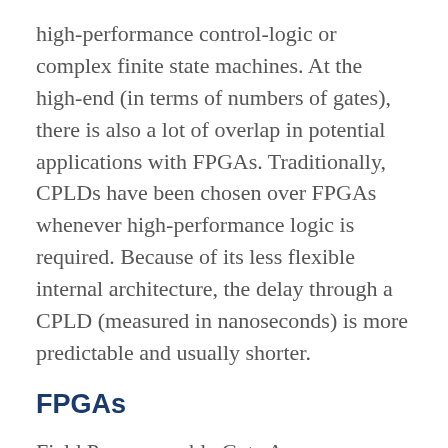high-performance control-logic or complex finite state machines. At the high-end (in terms of numbers of gates), there is also a lot of overlap in potential applications with FPGAs. Traditionally, CPLDs have been chosen over FPGAs whenever high-performance logic is required. Because of its less flexible internal architecture, the delay through a CPLD (measured in nanoseconds) is more predictable and usually shorter.
FPGAs
Field Programmable Gate Arrays (FPGAs) can be used to implement just about any hardware design. One common use is to prototype a lump of hardware that will eventually find its way into an ASIC. However, there is one thing to note: that the